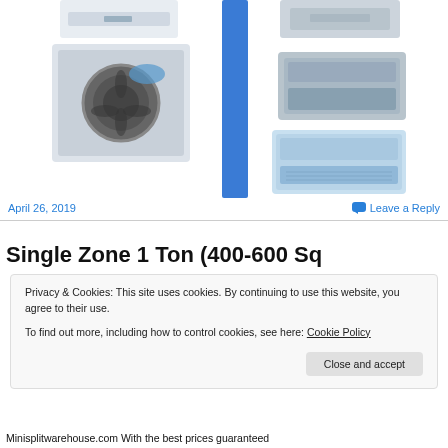[Figure (photo): Wall-mounted mini-split indoor unit (white, top left)]
[Figure (photo): Outdoor compressor unit with fan grille and Air-Con logo]
[Figure (illustration): Blue vertical decorative bar]
[Figure (photo): Ceiling cassette unit (top right)]
[Figure (photo): Ducted/concealed ceiling unit (middle right)]
[Figure (photo): Floor-console/ceiling-floor unit (bottom right)]
April 26, 2019
Leave a Reply
Single Zone 1 Ton (400-600 Sq...
Privacy & Cookies: This site uses cookies. By continuing to use this website, you agree to their use.
To find out more, including how to control cookies, see here: Cookie Policy
Close and accept
Minisplitwarehouse.com With the best prices guaranteed